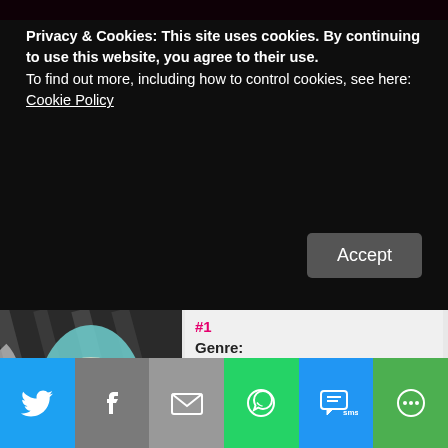Privacy & Cookies: This site uses cookies. By continuing to use this website, you agree to their use.
To find out more, including how to control cookies, see here:
Cookie Policy
Accept
[Figure (photo): Book cover for 'If I Had You - The Grand Russe Hotel' showing a woman in a teal/blue dress with pearls]
#1
Genre: Edwardian, Historical Romance
Published by: Lyrical Press
ISBN: 1601835795
Published on: 27 September, 2016
Format: eARC
Source: Publisher via NetGalley
Pages: 304
Rated:
[Figure (infographic): Social sharing bar with Twitter, Facebook, Email, WhatsApp, SMS, and More icons]